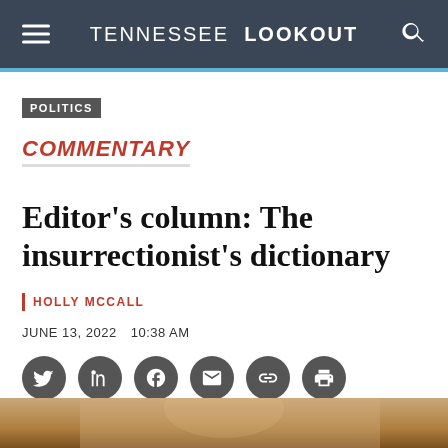TENNESSEE LOOKOUT
POLITICS
COMMENTARY
Editor's column: The insurrectionist's dictionary
HOLLY MCCALL
JUNE 13, 2022  10:38 AM
[Figure (illustration): Social media share icons: Twitter, LinkedIn, Facebook, Email, Link, Print]
[Figure (photo): Partial photo strip at bottom of page]